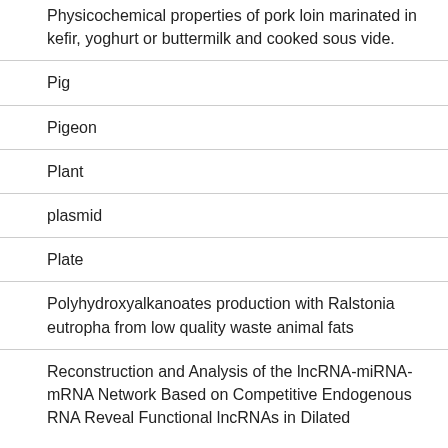Physicochemical properties of pork loin marinated in kefir, yoghurt or buttermilk and cooked sous vide.
Pig
Pigeon
Plant
plasmid
Plate
Polyhydroxyalkanoates production with Ralstonia eutropha from low quality waste animal fats
Reconstruction and Analysis of the lncRNA-miRNA-mRNA Network Based on Competitive Endogenous RNA Reveal Functional lncRNAs in Dilated